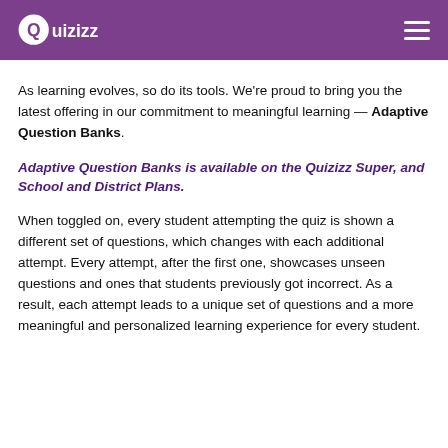Quizizz
As learning evolves, so do its tools. We’re proud to bring you the latest offering in our commitment to meaningful learning — Adaptive Question Banks.
Adaptive Question Banks is available on the Quizizz Super, and School and District Plans.
When toggled on, every student attempting the quiz is shown a different set of questions, which changes with each additional attempt. Every attempt, after the first one, showcases unseen questions and ones that students previously got incorrect. As a result, each attempt leads to a unique set of questions and a more meaningful and personalized learning experience for every student.